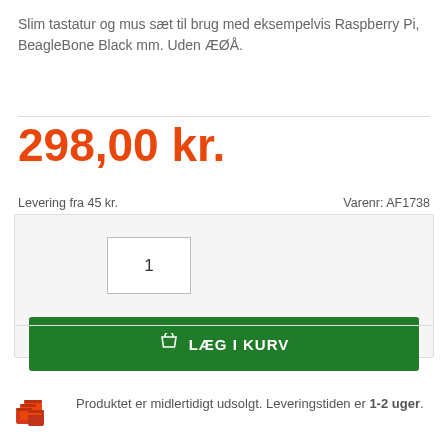Slim tastatur og mus sæt til brug med eksempelvis Raspberry Pi, BeagleBone Black mm. Uden ÆØÅ.
298,00 kr.
Levering fra 45 kr.
Varenr: AF1738
1
LÆG I KURV
Produktet er midlertidigt udsolgt. Leveringstiden er 1-2 uger.